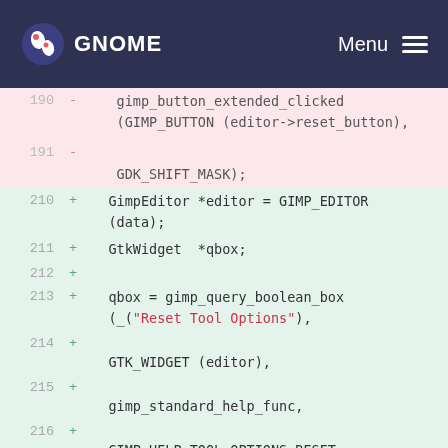GNOME Menu
[Figure (screenshot): Code diff view showing removed lines 190-191 (pink background) with gimp_button_extended_clicked call, and added lines 210-218 (green background) with GimpEditor, GtkWidget, qbox assignment, and gimp_query_boolean_box call with Reset Tool Options string]
190 - gimp_button_extended_clicked (GIMP_BUTTON (editor->reset_button),
191 -    GDK_SHIFT_MASK);
210 +   GimpEditor *editor = GIMP_EDITOR (data);
211 +   GtkWidget  *qbox;
212 +
213 +   qbox = gimp_query_boolean_box (_('Reset Tool Options'),
214 +
              GTK_WIDGET (editor),
215 +
              gimp_standard_help_func,
216 +
              GIMP_HELP_TOOL_OPTIONS_RESET,
217 +
              GTK_STOCK_DIALOG_QUESTION,
218 +   _("Do you really want to reset all "